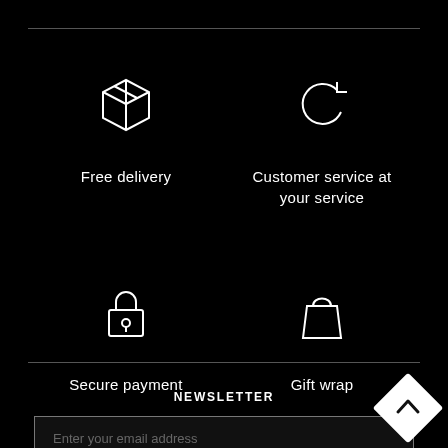[Figure (illustration): Box/package icon (free delivery)]
Free delivery
[Figure (illustration): Refresh/circular arrow icon (customer service)]
Customer service at your service
[Figure (illustration): Padlock icon (secure payment)]
Secure payment
[Figure (illustration): Shopping bag icon (gift wrap)]
Gift wrap
NEWSLETTER
Enter your email address
[Figure (logo): White diamond-shaped logo with upward chevron]